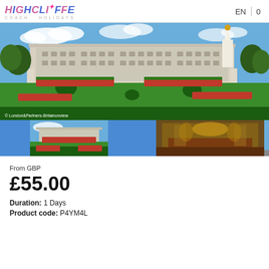HIGHCLIFFE COACH HOLIDAYS | EN | 0
[Figure (photo): Main photo of Buckingham Palace with red flower gardens in foreground, green lawn, and the Victoria Memorial visible on the right. Blue sky with clouds. Caption: © London&Partners-Britainonview]
[Figure (photo): Thumbnail strip showing four images: blue placeholder, Buckingham Palace exterior with flowers, blue placeholder, ornate palace interior room, and the palace gates at night.]
From GBP
£55.00
Duration: 1 Days
Product code: P4YM4L